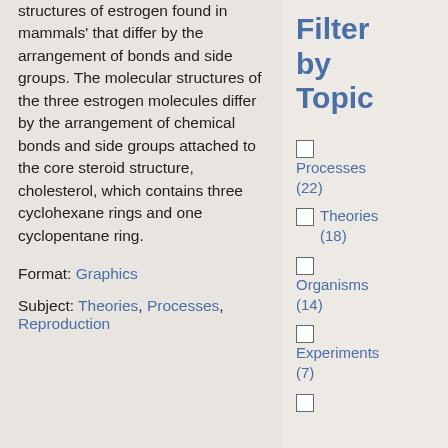structures of estrogen found in mammals' that differ by the arrangement of bonds and side groups. The molecular structures of the three estrogen molecules differ by the arrangement of chemical bonds and side groups attached to the core steroid structure, cholesterol, which contains three cyclohexane rings and one cyclopentane ring.
Format: Graphics
Subject: Theories, Processes, Reproduction
Filter by Topic
Processes (22)
Theories (18)
Organisms (14)
Experiments (7)